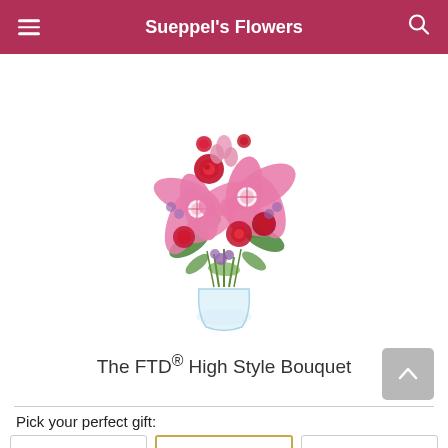Sueppel's Flowers
[Figure (photo): Flower bouquet photo: The FTD High Style Bouquet with pink stargazer lilies, red roses, and purple flowers in a clear glass vase]
The FTD® High Style Bouquet
Pick your perfect gift: